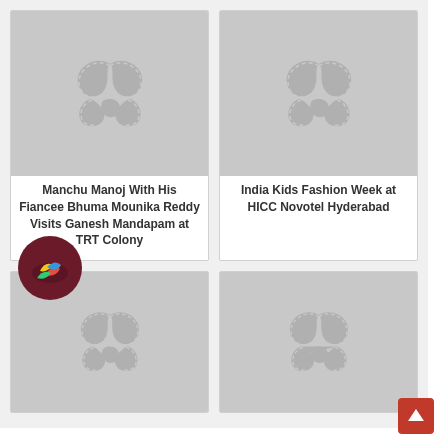[Figure (photo): Grey placeholder image with film reel logo icon]
[Figure (photo): Grey placeholder image with film reel logo icon]
Manchu Manoj With His Fiancee Bhuma Mounika Reddy Visits Ganesh Mandapam at TRT Colony
India Kids Fashion Week at HICC Novotel Hyderabad
[Figure (photo): Grey placeholder image with film reel logo icon]
[Figure (photo): Grey placeholder image with film reel logo icon]
[Figure (logo): Colorful chat/messaging app icon on dark circular background]
[Figure (illustration): Red scroll-to-top button with upward arrow]